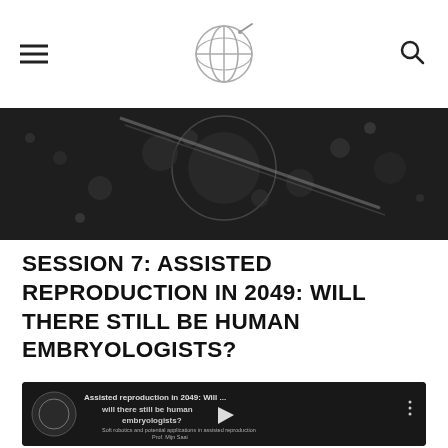[hamburger menu] [globe logo] [search icon]
[Figure (photo): Dark scientific/medical background image showing spherical objects, appearing to be embryos or cells under a microscope with a glass pipette element.]
SESSION 7: ASSISTED REPRODUCTION IN 2049: WILL THERE STILL BE HUMAN EMBRYOLOGISTS?
[Figure (screenshot): YouTube video thumbnail showing 'Assisted reproduction in 2049: Will... will there still be human embryologists?' with subtitle text listing speakers: Soft robotics and potential applications in assisted reproduction - Prof. Mijn Saai; Automatic embryo assessment and new tools - Dr. Arnaud Heignier; A simple and automatic procedure of IVF and Vitrification - Dr. Amir Arav. A play button is visible in the center.]